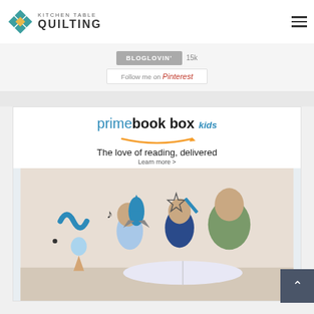Kitchen Table Quilting
[Figure (screenshot): Bloglovin button with 15k count and Follow me on Pinterest button]
[Figure (screenshot): Amazon Prime Book Box kids advertisement. Text: 'The love of reading, delivered. Learn more >'. Photo of a woman and two children reading a book together with illustrated blue doodles (worm, rocket, star, music notes, ice cream).]